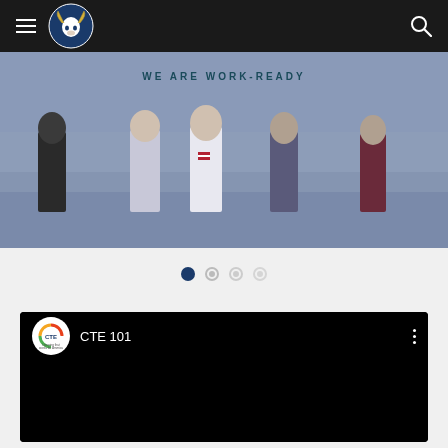[Figure (screenshot): Website navigation bar with hamburger menu, ram mascot logo, and search icon on dark background]
[Figure (photo): School banner/slideshow image showing students walking outdoors with text overlay 'WE ARE WORK-READY' and carousel dots navigation]
[Figure (screenshot): Embedded YouTube-style video player with CTE (Career That Works for America) logo, title 'CTE 101', and black video area]